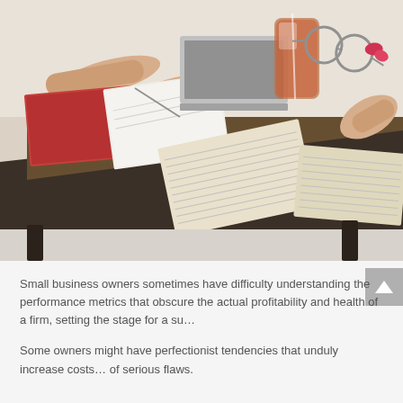[Figure (photo): A business meeting scene photographed from above and side angle, showing people's hands around a table with notebooks, open books/documents with text, a glass of iced tea/drink, glasses (eyeglasses), and a laptop partially visible. The table is dark wood. The setting appears casual/collaborative.]
Small business owners sometimes have difficulty understanding the performance metrics that obscure the actual profitability and health of a firm, setting the stage for a su...
Some owners might have perfectionist tendencies that unduly increase costs... of serious flaws.